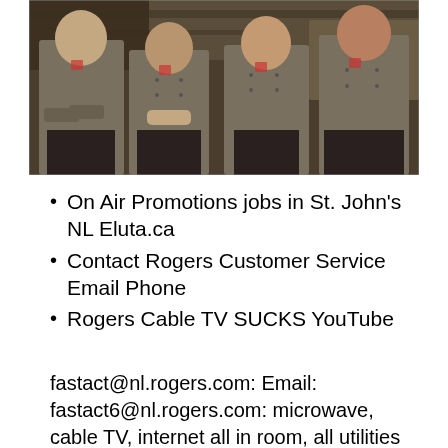[Figure (photo): Four people in olive/khaki chef uniforms standing in a line against a restaurant kitchen background]
On Air Promotions jobs in St. John's NL Eluta.ca
Contact Rogers Customer Service Email Phone
Rogers Cable TV SUCKS YouTube
fastact@nl.rogers.com: Email: fastact6@nl.rogers.com: microwave, cable TV, internet all in room, all utilities 157 Lemarchant Road St. John's, A1C 2H4 Contact Also featured all across the